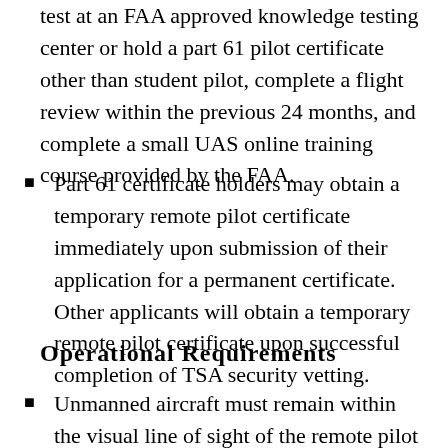test at an FAA approved knowledge testing center or hold a part 61 pilot certificate other than student pilot, complete a flight review within the previous 24 months, and complete a small UAS online training course provided by the FAA.
Part 61 certificate holders may obtain a temporary remote pilot certificate immediately upon submission of their application for a permanent certificate. Other applicants will obtain a temporary remote pilot certificate upon successful completion of TSA security vetting.
Operational Requirements
Unmanned aircraft must remain within the visual line of sight of the remote pilot in command and person manipulating the flight controls.